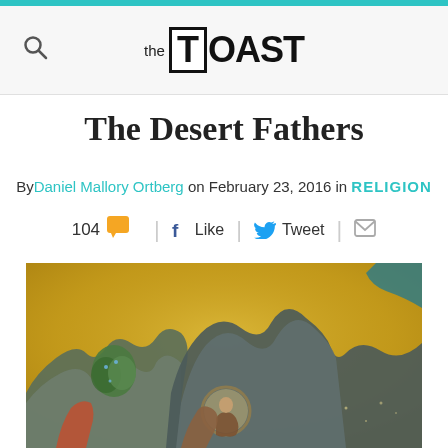the TOAST
The Desert Fathers
By Daniel Mallory Ortberg on February 23, 2016 in RELIGION
104  |  Like  |  Tweet  |  [email]
[Figure (illustration): Medieval or Byzantine-style painting with gold background depicting figures among stylized rocky mountains and a tree; a circular medallion figure visible in the center foreground.]